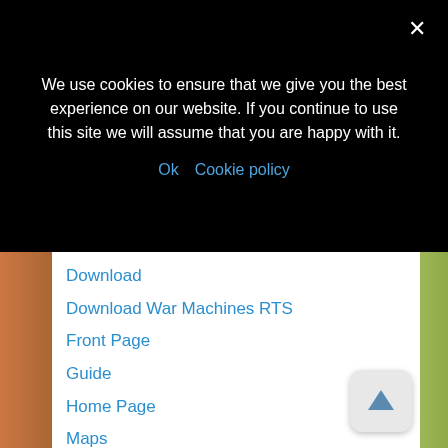We use cookies to ensure that we give you the best experience on our website. If you continue to use this site we will assume that you are happy with it.
Ok
Cookie policy
Download
Download War Machines RTS
Front Page
Guide
Home Page
Maps
Media
News
PHP test
Privacy & Cookies Policy
Test Home Page
The client
The Game